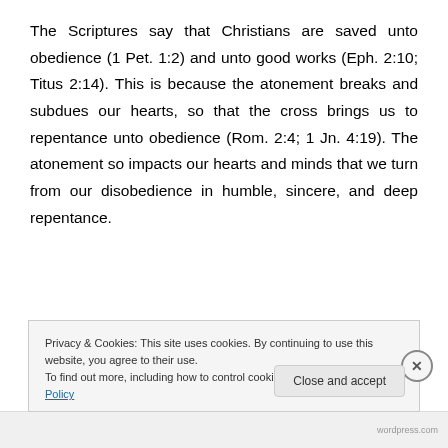The Scriptures say that Christians are saved unto obedience (1 Pet. 1:2) and unto good works (Eph. 2:10; Titus 2:14). This is because the atonement breaks and subdues our hearts, so that the cross brings us to repentance unto obedience (Rom. 2:4; 1 Jn. 4:19). The atonement so impacts our hearts and minds that we turn from our disobedience in humble, sincere, and deep repentance.
The at-one-ment is meant to make us at-one instead of at war with God. It does this by allowing God to set aside our
Privacy & Cookies: This site uses cookies. By continuing to use this website, you agree to their use.
To find out more, including how to control cookies, see here: Cookie Policy